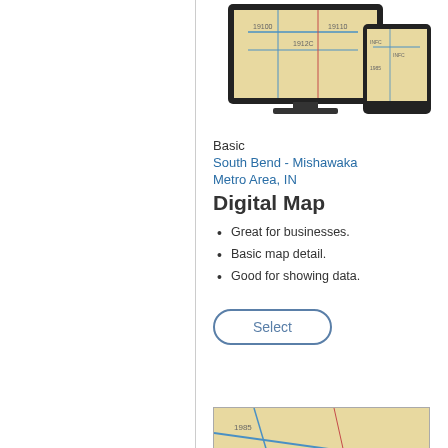[Figure (screenshot): Monitor display showing Basic South Bend - Mishawaka Metro Area digital map product]
Basic
South Bend - Mishawaka Metro Area, IN
Digital Map
Great for businesses.
Basic map detail.
Good for showing data.
Select
[Figure (screenshot): Monitor display showing Premium South Bend - Mishawaka Metro Area digital map product]
Premium
South Ben... Metro Area...
Digital M...
Attractive...
Reference...
Great for...
Select
[Figure (screenshot): Bottom section map image for Basic product showing map detail with web overlay]
[Figure (screenshot): Bottom section map image for Premium product]